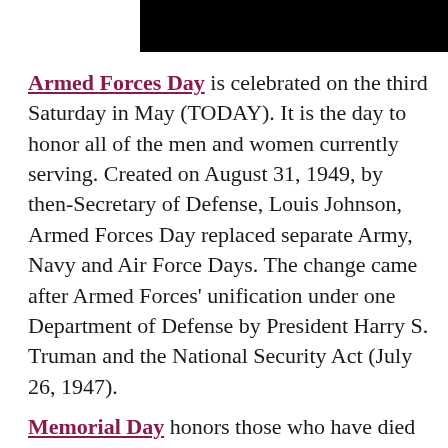[Figure (photo): Black rectangular banner/header image at top of page]
Armed Forces Day is celebrated on the third Saturday in May (TODAY). It is the day to honor all of the men and women currently serving. Created on August 31, 1949, by then-Secretary of Defense, Louis Johnson, Armed Forces Day replaced separate Army, Navy and Air Force Days. The change came after Armed Forces’ unification under one Department of Defense by President Harry S. Truman and the National Security Act (July 26, 1947).
Memorial Day honors those who have died while